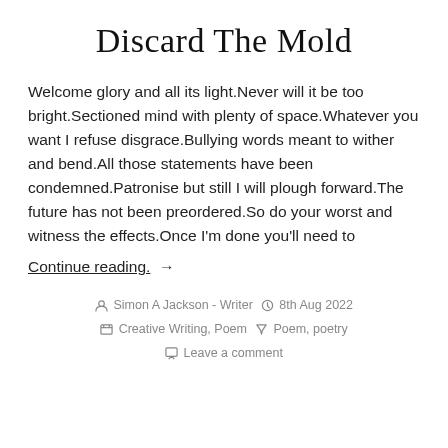Discard The Mold
Welcome glory and all its light.Never will it be too bright.Sectioned mind with plenty of space.Whatever you want I refuse disgrace.Bullying words meant to wither and bend.All those statements have been condemned.Patronise but still I will plough forward.The future has not been preordered.So do your worst and witness the effects.Once I’m done you’ll need to
Continue reading. →
Simon A Jackson - Writer  8th Aug 2022  Creative Writing, Poem  Poem, poetry  Leave a comment